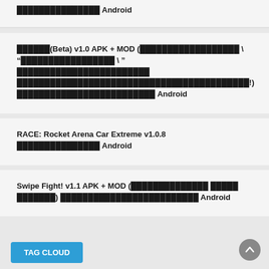xxxxxxxxxxxxxxx Android
xxxxxx(Beta) v1.0 APK + MOD (xxxxxxxxxxxxxxxxxx \ "xxxxxxxxxxxxxxxxx \ " xxxxxxxxxxxxxxxxxxxxxxxx xxxxxxxxxxxxxxxxxxxxxxxxxxxxxxxxxxxxxxxxxx!) xxxxxxxxxxxxxxxxxxxxxxxxx Android
RACE: Rocket Arena Car Extreme v1.0.8 xxxxxxxxxxxxxxx Android
Swipe Fight! v1.1 APK + MOD (xxxxxxxxxxxxxxxx xxxxx xxxxxxx) xxxxxxxxxxxxxxxxxxxxxxxxx Android
TAG CLOUD